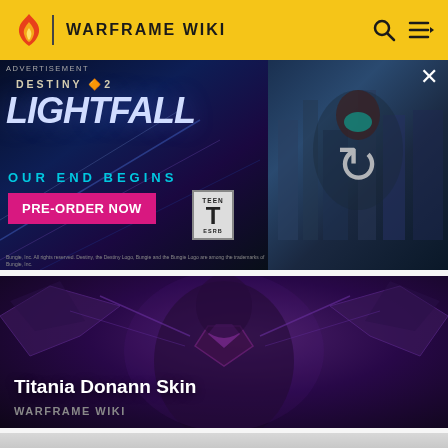WARFRAME WIKI
[Figure (screenshot): Advertisement banner for Destiny 2 Lightfall. Dark background with text 'DESTINY 2 LIGHTFALL OUR END BEGINS' and a pink PRE-ORDER NOW button, TEEN ESRB rating, and a cyberpunk character image on the right with a refresh icon overlay.]
ADVERTISEMENT
[Figure (illustration): Titania Donann Skin character art - a dark purple armored female figure with wing-like appendages against a purple/dark background.]
Titania Donann Skin
WARFRAME Wiki
[Figure (illustration): Partial view of another Warframe character card at the bottom of the page, showing a teal/white armored figure.]